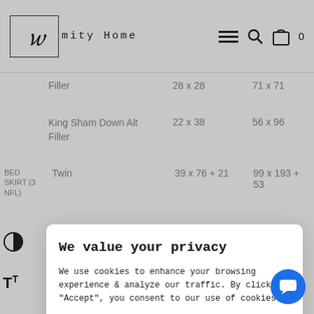Amity Home
|  | Product | Imperial (in) | Metric (cm) |
| --- | --- | --- | --- |
|  | Filler | 28 x 28 | 71 x 71 |
|  | King Sham Down Alt Filler | 22 x 38 | 56 x 96 |
| BED SKIRT (3 NFL) | Twin | 39 x 76 + 21 | 99 x 193 + 53 |
We value your privacy
We use cookies to enhance your browsing experience & analyze our traffic. By clicking "Accept", you consent to our use of cookies.
Read More
ACCEPT
REJECT
Cookie settings
38